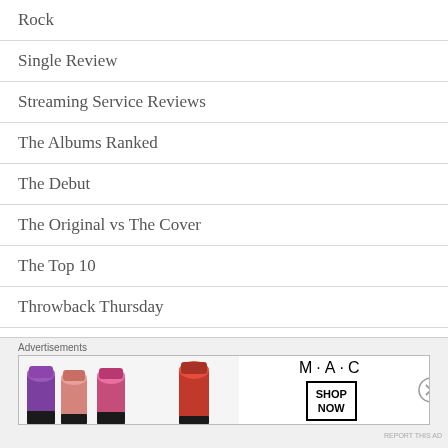Rock
Single Review
Streaming Service Reviews
The Albums Ranked
The Debut
The Original vs The Cover
The Top 10
Throwback Thursday
Tour Dates
Tuesday's Memes
[Figure (illustration): MAC cosmetics advertisement showing lipsticks in purple, pink, and red with MAC logo and SHOP NOW button]
Advertisements